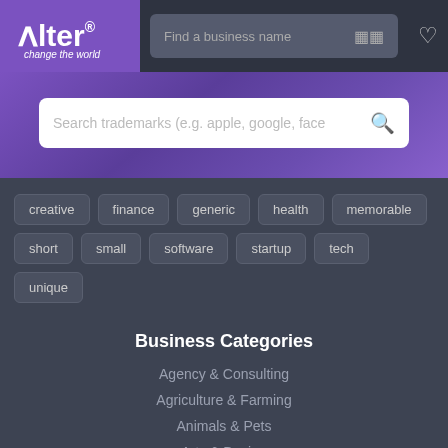[Figure (screenshot): Alter logo with purple background, tagline 'change the world']
Find a business name
[Figure (screenshot): Search bar: Search trademarks (e.g. apple, google, face)]
creative
finance
generic
health
memorable
short
small
software
startup
tech
unique
Business Categories
Agency & Consulting
Agriculture & Farming
Animals & Pets
Arts & Design
Books & Magazines
Children & Baby